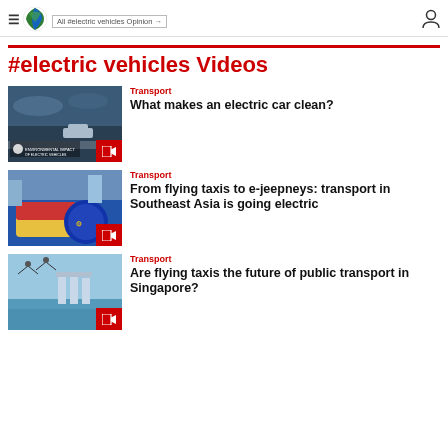≡  [logo]  All #electric vehicles Opinion →  [user icon]
All #electric vehicles Opinion →
#electric vehicles Videos
Transport
What makes an electric car clean?
Transport
From flying taxis to e-jeepneys: transport in Southeast Asia is going electric
Transport
Are flying taxis the future of public transport in Singapore?